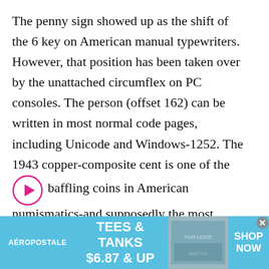The penny sign showed up as the shift of the 6 key on American manual typewriters. However, that position has been taken over by the unattached circumflex on PC consoles. The person (offset 162) can be written in most normal code pages, including Unicode and Windows-1252. The 1943 copper-composite cent is one of the baffling coins in American numismatics-and supposedly the most
[Figure (other): Pink-outlined circular play button icon with a magenta/pink triangle pointing right, embedded inline within text paragraph]
[Figure (infographic): Aeropostale advertisement banner: light blue background, brand name AEROPOSTALE on left, center text TEES & TANKS $6.87 & UP in white bold, right side shows a photo of fabric/clothing with PARADISE text, SHOP NOW text on far right. Close (x) button at top right corner.]